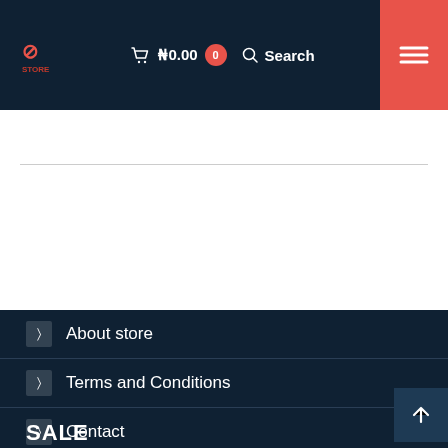₦0.00 0 Search
About store
Terms and Conditions
Contact
My account
Order tracking
SALE